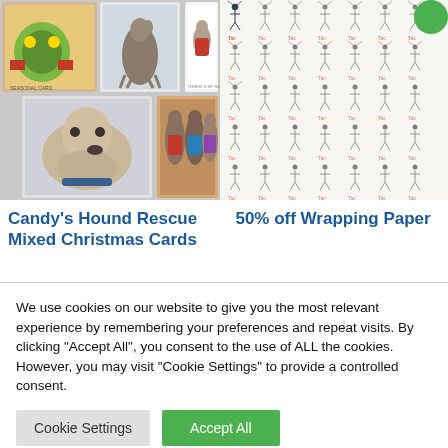[Figure (photo): Collage of greyhound dog Christmas cards showing multiple dogs in festive settings]
[Figure (photo): Wrapping paper with repeating pattern of small illustrated figures/reindeers on white background]
Candy's Hound Rescue Mixed Christmas Cards
50% off Wrapping Paper
We use cookies on our website to give you the most relevant experience by remembering your preferences and repeat visits. By clicking "Accept All", you consent to the use of ALL the cookies. However, you may visit "Cookie Settings" to provide a controlled consent.
Cookie Settings
Accept All